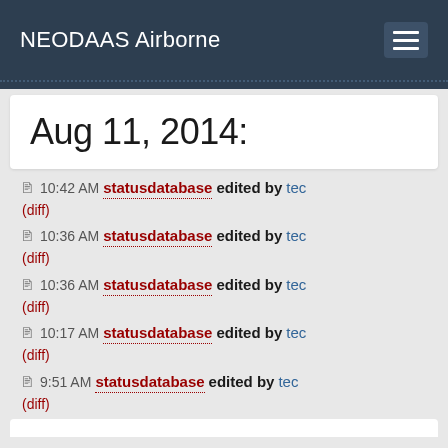NEODAAS Airborne
Aug 11, 2014:
📄 10:42 AM statusdatabase edited by tec (diff)
📄 10:36 AM statusdatabase edited by tec (diff)
📄 10:36 AM statusdatabase edited by tec (diff)
📄 10:17 AM statusdatabase edited by tec (diff)
📄 9:51 AM statusdatabase edited by tec (diff)